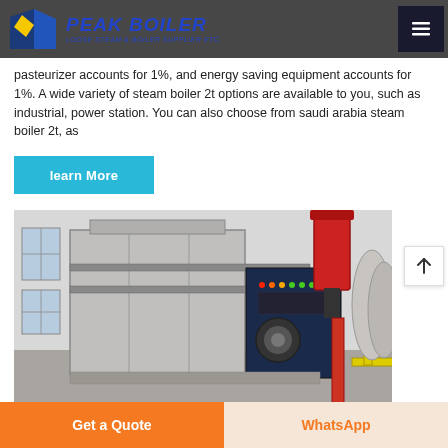PEAK BOILER — loose steam & boiler supply etc.
pasteurizer accounts for 1%, and energy saving equipment accounts for 1%. A wide variety of steam boiler 2t options are available to you, such as industrial, power station. You can also choose from saudi arabia steam boiler 2t, as
learn More
[Figure (photo): Industrial steam boiler equipment in a factory setting, showing a large grey rectangular boiler unit with a red combustion chamber on top, blue control panel, and associated piping in an industrial hall.]
Get a Quote | WhatsApp